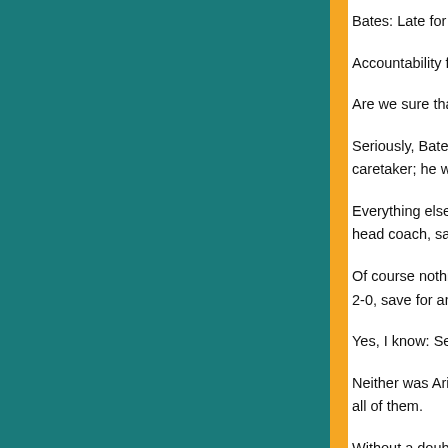Bates: Late for a meeting? Get embarrassed.
Accountability for mistakes? Fancy that.
Are we sure that Don Shula isn't back among us?
Seriously, Bates is approaching his situation not as a caretaker; he wants to win out.
Everything else, he figures, will take care of itself—head coach, sans the "interim".
Of course nothing speaks louder than results. Miami is 2-0, save for an ill-advised A.J. Feeley pass...
Yes, I know: Seattle and San Francisco...
Neither was Arizona, Cincinnati, or (at the time)... all of them.
Without a doubt, there is something about...
He is well-spoken, confident, thoughtful... carries himself.
He has credibility, backed by over 30 y...